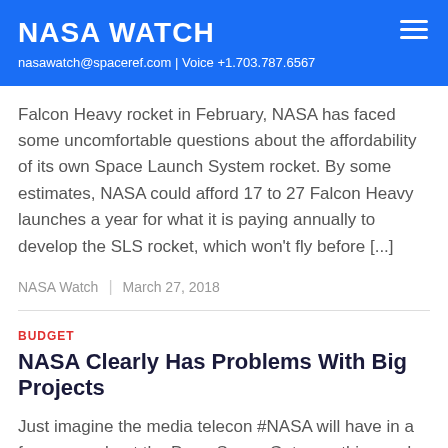NASA WATCH
nasawatch@spaceref.com | Voice +1.703.787.6567
Falcon Heavy rocket in February, NASA has faced some uncomfortable questions about the affordability of its own Space Launch System rocket. By some estimates, NASA could afford 17 to 27 Falcon Heavy launches a year for what it is paying annually to develop the SLS rocket, which won't fly before [...]
NASA Watch  |  March 27, 2018
BUDGET
NASA Clearly Has Problems With Big Projects
Just imagine the media telecon #NASA will have in a few years about the Deep Space Gateway thing and how its costs have risen, launch dates delayed, etc. and how this is